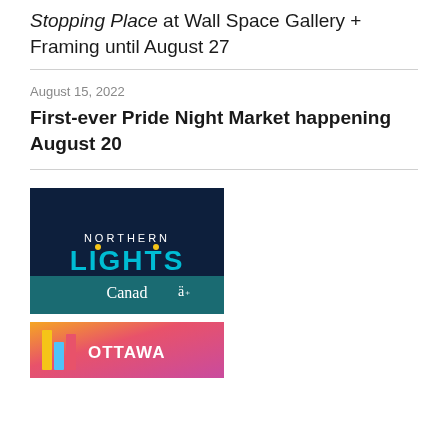Stopping Place at Wall Space Gallery + Framing until August 27
August 15, 2022
First-ever Pride Night Market happening August 20
[Figure (logo): Northern Lights Canada logo on dark navy background with teal and yellow text]
[Figure (logo): Ottawa logo on colorful gradient background with multicolor letters]